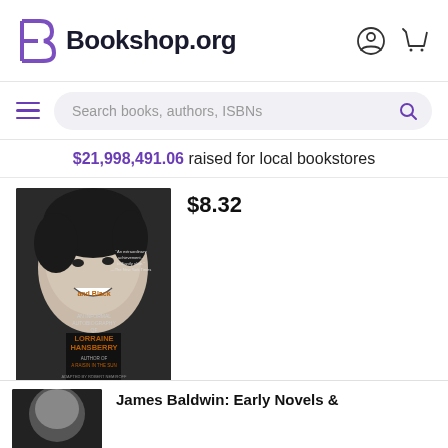Bookshop.org
Search books, authors, ISBNs
$21,998,491.06 raised for local bookstores
[Figure (photo): Book cover: 'To Be Young, Gifted and Black: An Informal Autobiography of Lorraine Hansberry', black and white portrait of a young smiling person on cover]
$8.32
ADD TO CART
James Baldwin: Early Novels &